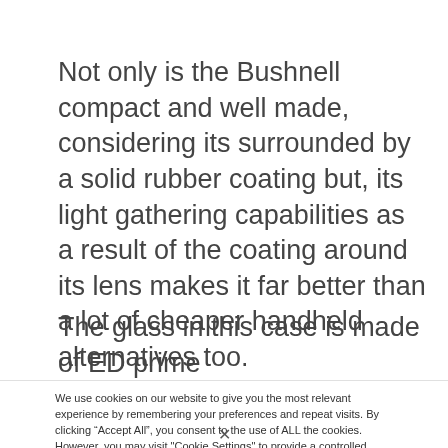Not only is the Bushnell compact and well made, considering its surrounded by a solid rubber coating but, its light gathering capabilities as a result of the coating around its lens makes it far better than a lot of cheaper handheld alternatives too.
The glass in this case is made of ED prime
We use cookies on our website to give you the most relevant experience by remembering your preferences and repeat visits. By clicking “Accept All”, you consent to the use of ALL the cookies. However, you may visit "Cookie Settings" to provide a controlled consent.